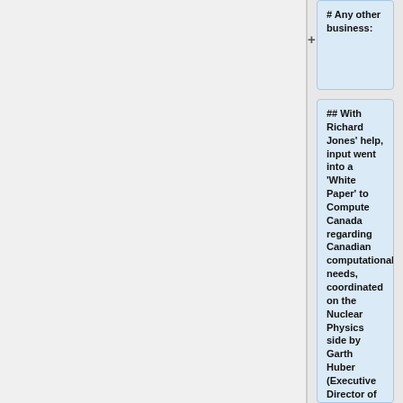# Any other business:
## With Richard Jones' help, input went into a 'White Paper' to Compute Canada regarding Canadian computational needs, coordinated on the Nuclear Physics side by Garth Huber (Executive Director of the Canadian Institute for Nuclear Physics). 30% of the GlueX needs were requested for running on the Westgrid cluster and the request was well received